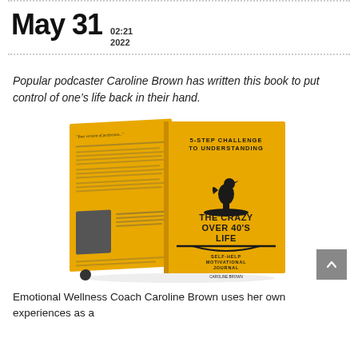May 31  02:21 2022
Popular podcaster Caroline Brown has written this book to put control of one’s life back in their hand.
[Figure (photo): Book cover image of 'The Crazy Over 40's Life: 5-Step Challenge to Understanding' by Caroline Brown, a yellow book shown in 3D perspective with front and back covers visible.]
Emotional Wellness Coach Caroline Brown uses her own experiences as a